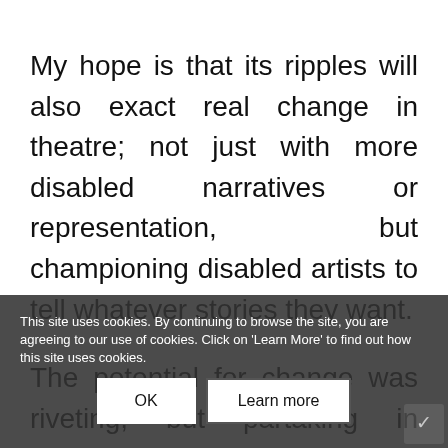My hope is that its ripples will also exact real change in theatre; not just with more disabled narratives or representation, but championing disabled artists to tell whatever stories they want.

The potential for change was riveting, but partaking in Wellspring galvanised me even further.

From the start, it was such a welcoming, supportive, and creatively enriching environment. I learned lots from tutors and fellow participants alike, about idea
This site uses cookies. By continuing to browse the site, you are agreeing to our use of cookies. Click on 'Learn More' to find out how this site uses cookies.